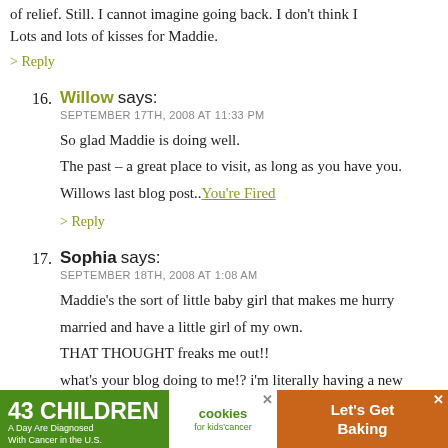of relief. Still. I cannot imagine going back. I don't think I
Lots and lots of kisses for Maddie.
> Reply
16. Willow says:
SEPTEMBER 17TH, 2008 AT 11:33 PM
So glad Maddie is doing well.
The past – a great place to visit, as long as you have you.
Willows last blog post..You're Fired
> Reply
17. Sophia says:
SEPTEMBER 18TH, 2008 AT 1:08 AM
Maddie's the sort of little baby girl that makes me hurry married and have a little girl of my own.
THAT THOUGHT freaks me out!!
what's your blog doing to me!? i'm literally having a new one that involves me wanting kids and settling
[Figure (infographic): Advertisement banner: '43 CHILDREN A Day Are Diagnosed With Cancer in the U.S.' with cookies for kids' cancer logo and 'Let's Get Baking' call to action on orange background.]